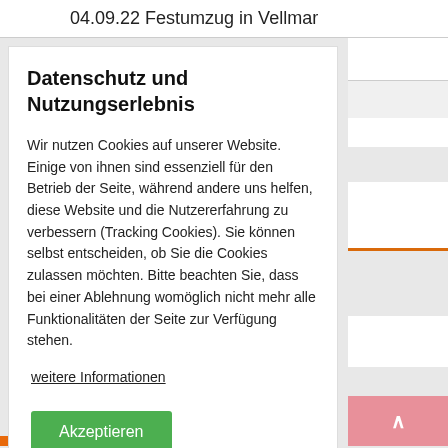04.09.22 Festumzug in Vellmar
Datenschutz und Nutzungserlebnis
Wir nutzen Cookies auf unserer Website. Einige von ihnen sind essenziell für den Betrieb der Seite, während andere uns helfen, diese Website und die Nutzererfahrung zu verbessern (Tracking Cookies). Sie können selbst entscheiden, ob Sie die Cookies zulassen möchten. Bitte beachten Sie, dass bei einer Ablehnung womöglich nicht mehr alle Funktionalitäten der Seite zur Verfügung stehen.
weitere Informationen
Akzeptieren